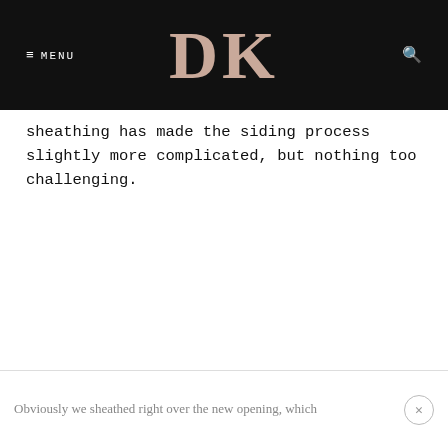≡ MENU  DK  [search]
sheathing has made the siding process slightly more complicated, but nothing too challenging.
Obviously we sheathed right over the new opening, which